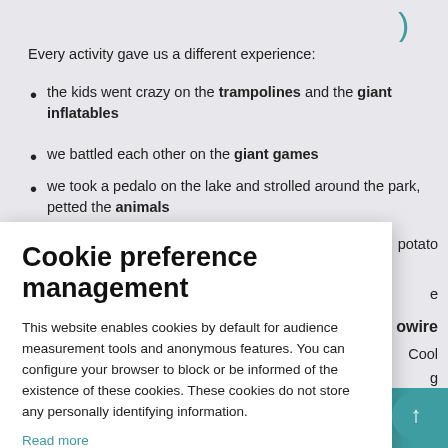Every activity gave us a different experience:
the kids went crazy on the trampolines and the giant inflatables
we battled each other on the giant games
we took a pedalo on the lake and strolled around the park, petted the animals
[Figure (screenshot): Cookie preference management modal dialog overlaid on a webpage. The modal has a title 'Cookie preference management', body text about cookies, a 'Read more' link in teal, and three buttons at the bottom: 'No thanks', 'I choose', and 'Ok for me'. Partially visible behind the modal are text fragments: 'potato', 'e', 'owire', 'Cool', 'g'. A teal circular scroll-to-top button is visible in the bottom right.]